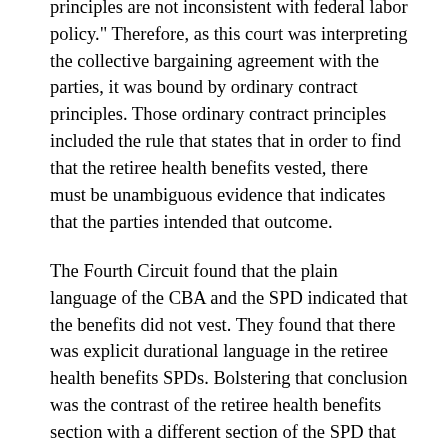principles are not inconsistent with federal labor policy." Therefore, as this court was interpreting the collective bargaining agreement with the parties, it was bound by ordinary contract principles. Those ordinary contract principles included the rule that states that in order to find that the retiree health benefits vested, there must be unambiguous evidence that indicates that the parties intended that outcome.
The Fourth Circuit found that the plain language of the CBA and the SPD indicated that the benefits did not vest. They found that there was explicit durational language in the retiree health benefits SPDs. Bolstering that conclusion was the contrast of the retiree health benefits section with a different section of the SPD that stated unambiguously that the pension plans cannot be reduced and they are paid monthly for the participants. Because the language was unambiguous in another section, it clearly